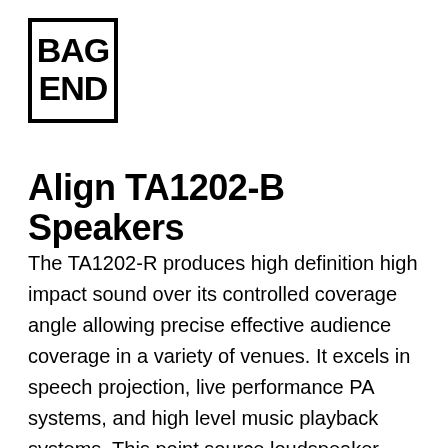[Figure (logo): Bag End logo — bold block letters spelling BAG on top line and END on bottom line inside a rectangular border]
Align TA1202-B Speakers
The TA1202-R produces high definition high impact sound over its controlled coverage angle allowing precise effective audience coverage in a variety of venues. It excels in speech projection, live performance PA systems, and high level music playback systems. This point source loudspeaker, engineered for seamless short and mid throw performance is known for exceptional fidelity [...]